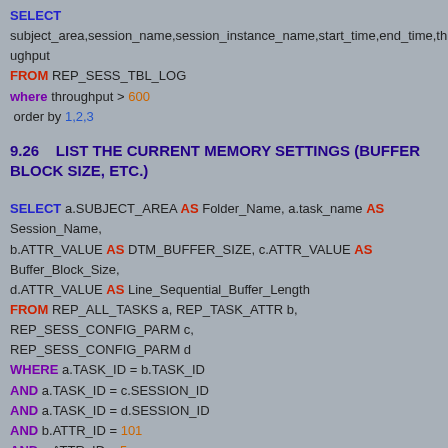SELECT subject_area,session_name,session_instance_name,start_time,end_time,throughput FROM REP_SESS_TBL_LOG where throughput > 600 order by 1,2,3
9.26    LIST THE CURRENT MEMORY SETTINGS (BUFFER BLOCK SIZE, ETC.)
SELECT a.SUBJECT_AREA AS Folder_Name, a.task_name AS Session_Name, b.ATTR_VALUE AS DTM_BUFFER_SIZE, c.ATTR_VALUE AS Buffer_Block_Size, d.ATTR_VALUE AS Line_Sequential_Buffer_Length FROM REP_ALL_TASKS a, REP_TASK_ATTR b, REP_SESS_CONFIG_PARM c, REP_SESS_CONFIG_PARM d WHERE a.TASK_ID = b.TASK_ID AND a.TASK_ID = c.SESSION_ID AND a.TASK_ID = d.SESSION_ID AND b.ATTR_ID = 101 AND c.ATTR_ID = 5 AND d.ATTR_ID = 6 and a.SUBJECT_AREA like '%EBI_NACO_%'